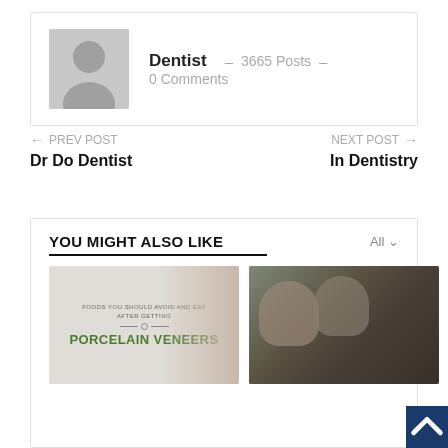[Figure (illustration): Author profile card with avatar placeholder, name Dentist, 3665 Posts, 0 Comments]
Dentist  –  3665 Posts  –  0 Comments
← PREV POST
Dr Do Dentist
NEXT POST →
In Dentistry
YOU MIGHT ALSO LIKE
All ∨
[Figure (photo): Article thumbnail: Foods You Should Avoid and Eat After Getting Porcelain Veneers, woman smiling]
[Figure (photo): Article thumbnail: Two young men outdoors, dark-haired]